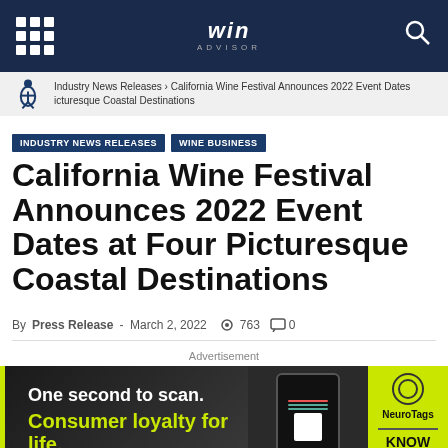WIN ADVISOR navigation header
Industry News Releases > California Wine Festival Announces 2022 Event Dates icturesque Coastal Destinations
INDUSTRY NEWS RELEASES
WINE BUSINESS
California Wine Festival Announces 2022 Event Dates at Four Picturesque Coastal Destinations
By Press Release - March 2, 2022  763  0
Advertisement
[Figure (photo): Advertisement banner: One second to scan. Consumer loyalty for life. NeuroTags KNOW MORE]